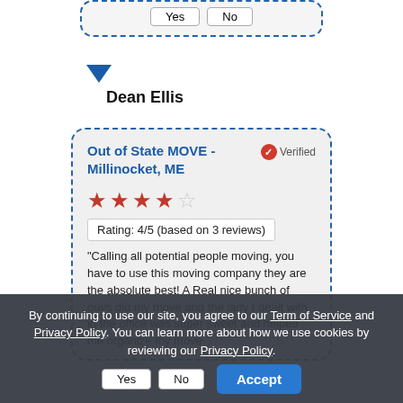[Figure (other): Top card with Yes/No buttons, partially visible at top of page]
Dean Ellis
Out of State MOVE - Millinocket, ME
Verified
Rating: 4/5 (based on 3 reviews)
"Calling all potential people moving, you have to use this moving company they are the absolute best! A Real nice bunch of guys did my move and the lady I dealt with in the office was super sweet and helped me organize my move"
By continuing to use our site, you agree to our Term of Service and Privacy Policy. You can learn more about how we use cookies by reviewing our Privacy Policy.
Accept
Yes No